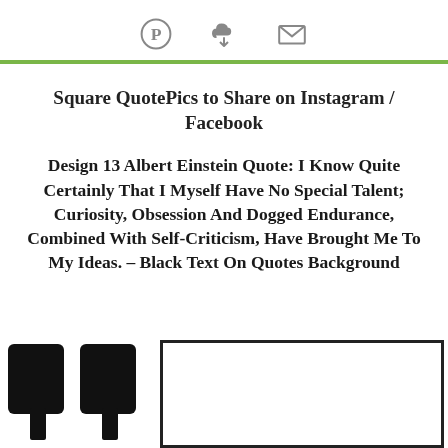[Figure (infographic): Three social sharing icons in a row: Pinterest (circle P), cloud download, and email envelope, in gray.]
Square QuotePics to Share on Instagram / Facebook
Design 13 Albert Einstein Quote: I Know Quite Certainly That I Myself Have No Special Talent; Curiosity, Obsession And Dogged Endurance, Combined With Self-Criticism, Have Brought Me To My Ideas. – Black Text On Quotes Background
[Figure (illustration): Partial view of a quote image: large black quotation marks on the left and a bordered white rectangle on the right, cropped at the bottom of the page.]